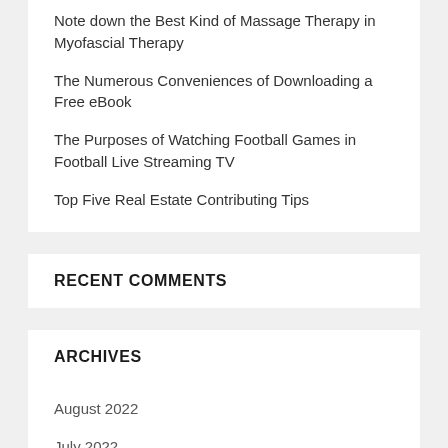Note down the Best Kind of Massage Therapy in Myofascial Therapy
The Numerous Conveniences of Downloading a Free eBook
The Purposes of Watching Football Games in Football Live Streaming TV
Top Five Real Estate Contributing Tips
RECENT COMMENTS
ARCHIVES
August 2022
July 2022